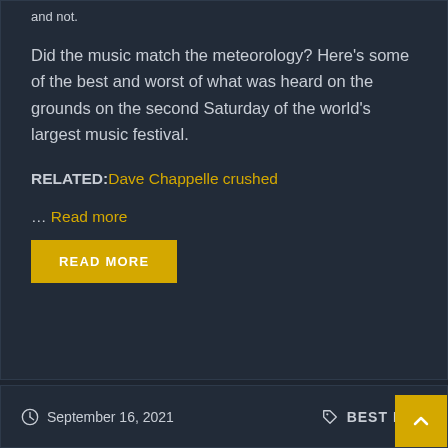and not.
Did the music match the meteorology? Here’s some of the best and worst of what was heard on the grounds on the second Saturday of the world’s largest music festival.
RELATED: Dave Chappelle crushed
... Read more
READ MORE
September 16, 2021
BEST MUS